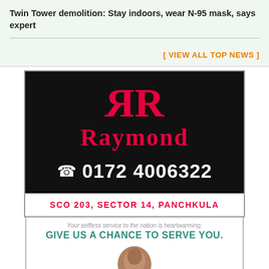Twin Tower demolition: Stay indoors, wear N-95 mask, says expert
[ VIEW ALL TOP NEWS ]
[Figure (logo): Raymond brand advertisement with mirrored RR logo in red on black background, phone number 0172 4006322, and address SCO 203, SECTOR 14, PANCHKULA]
[Figure (infographic): Second advertisement with tagline 'Your selfless service to the nation is heartwarming.' and headline 'GIVE US A CHANCE TO SERVE YOU.' with a partial image of a person's head at bottom]